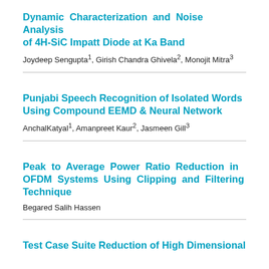Dynamic Characterization and Noise Analysis of 4H-SiC Impatt Diode at Ka Band
Joydeep Sengupta1, Girish Chandra Ghivela2, Monojit Mitra3
Punjabi Speech Recognition of Isolated Words Using Compound EEMD & Neural Network
AnchalKatyal1, Amanpreet Kaur2, Jasmeen Gill3
Peak to Average Power Ratio Reduction in OFDM Systems Using Clipping and Filtering Technique
Begared Salih Hassen
Test Case Suite Reduction of High Dimensional